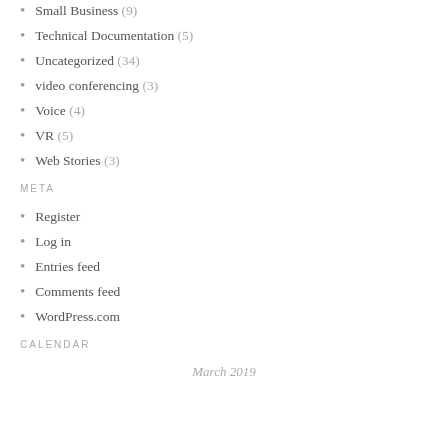Small Business (9)
Technical Documentation (5)
Uncategorized (34)
video conferencing (3)
Voice (4)
VR (5)
Web Stories (3)
META
Register
Log in
Entries feed
Comments feed
WordPress.com
CALENDAR
March 2019